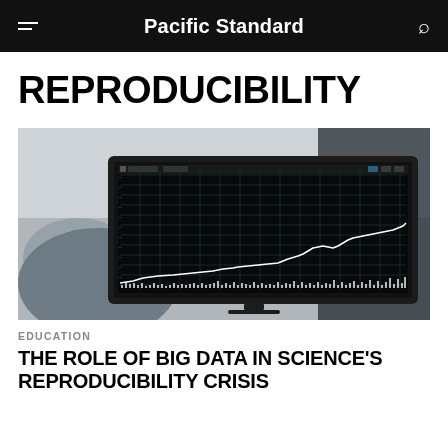Pacific Standard
REPRODUCIBILITY
[Figure (photo): A dark computer monitor displaying a white line chart with grid lines on a black background, photographed in a dimly lit environment.]
EDUCATION
THE ROLE OF BIG DATA IN SCIENCE'S REPRODUCIBILITY CRISIS